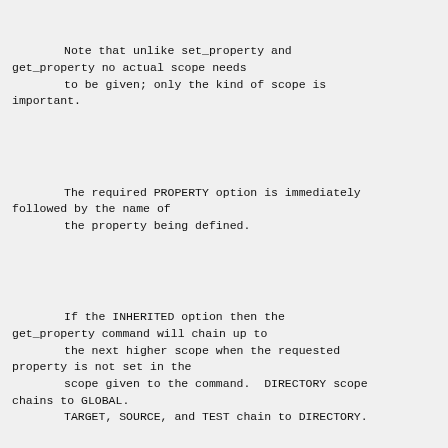Note that unlike set_property and get_property no actual scope needs to be given; only the kind of scope is important.
The required PROPERTY option is immediately followed by the name of the property being defined.
If the INHERITED option then the get_property command will chain up to the next higher scope when the requested property is not set in the scope given to the command.  DIRECTORY scope chains to GLOBAL.
        TARGET, SOURCE, and TEST chain to DIRECTORY.
The BRIEF_DOCS and FULL_DOCS options are followed by strings to be associated with the property as its brief and full documentation.
        Corresponding options to the get_property command will retrieve the documentation.
else
        Starts the else portion of an if block.

          else(expression)

        See the if command.